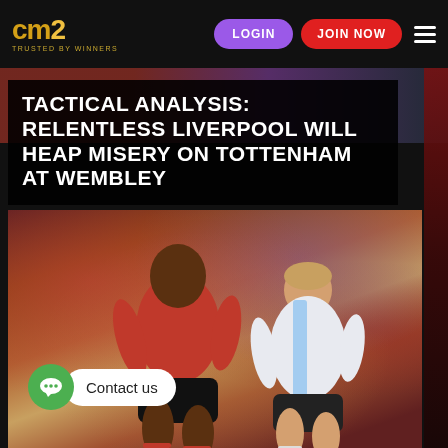CM2 — TRUSTED BY WINNERS | LOGIN | JOIN NOW
TACTICAL ANALYSIS: RELENTLESS LIVERPOOL WILL HEAP MISERY ON TOTTENHAM AT WEMBLEY
[Figure (photo): Two football players in action — one in a red Liverpool kit, one in a white/blue kit — with a blurred crowd background]
Contact us